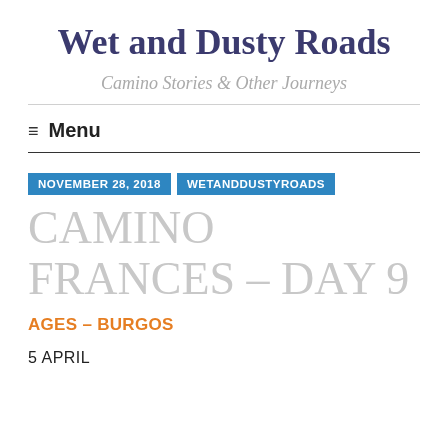Wet and Dusty Roads
Camino Stories & Other Journeys
≡  Menu
NOVEMBER 28, 2018    WETANDDUSTYROADS
CAMINO FRANCES – DAY 9
AGES – BURGOS
5 APRIL